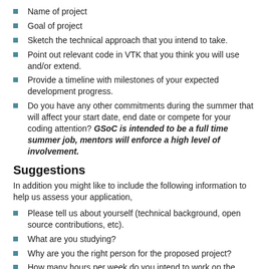Name of project
Goal of project
Sketch the technical approach that you intend to take.
Point out relevant code in VTK that you think you will use and/or extend.
Provide a timeline with milestones of your expected development progress.
Do you have any other commitments during the summer that will affect your start date, end date or compete for your coding attention? GSoC is intended to be a full time summer job, mentors will enforce a high level of involvement.
Suggestions
In addition you might like to include the following information to help us assess your application,
Please tell us about yourself (technical background, open source contributions, etc).
What are you studying?
Why are you the right person for the proposed project?
How many hours per week do you intend to work on the project?
Are you comfortable working remotely under a mentor who may not be in the same time zone as you? Have you ever worked in a similar way before? How will you communicate with your mentor, keep them